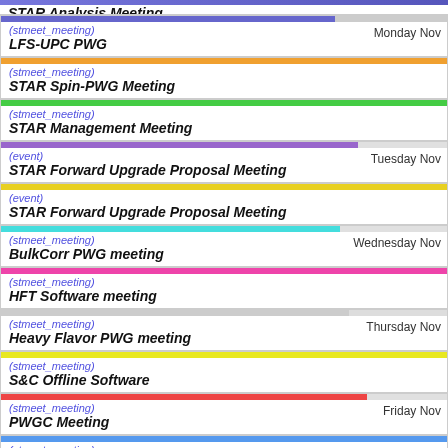STAR Analysis Meeting (partial top)
(stmeet_meeting) LFS-UPC PWG — Monday Nov
(stmeet_meeting) STAR Spin-PWG Meeting
(stmeet_meeting) STAR Management Meeting
(event) STAR Forward Upgrade Proposal Meeting — Tuesday Nov
(event) STAR Forward Upgrade Proposal Meeting
(stmeet_meeting) BulkCorr PWG meeting — Wednesday Nov
(stmeet_meeting) HFT Software meeting
(stmeet_meeting) Heavy Flavor PWG meeting — Thursday Nov
(stmeet_meeting) S&C Offline Software
(stmeet_meeting) PWGC Meeting — Friday Nov
(stmeet_meeting) Jetcorr PWG Meeting
(stmeet_meeting) Monday Nov (partial bottom)